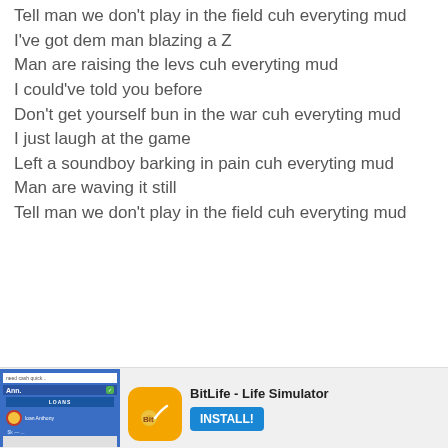Tell man we don't play in the field cuh everyting mud
I've got dem man blazing a Z
Man are raising the levs cuh everyting mud
I could've told you before
Don't get yourself bun in the war cuh everyting mud
I just laugh at the game
Left a soundboy barking in pain cuh everyting mud
Man are waving it still
Tell man we don't play in the field cuh everyting mud
[Figure (screenshot): Advertisement banner for BitLife - Life Simulator app with install button]